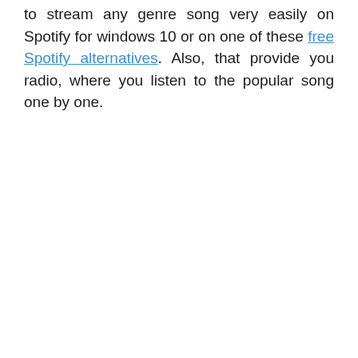to stream any genre song very easily on Spotify for windows 10 or on one of these free Spotify alternatives. Also, that provide you radio, where you listen to the popular song one by one.